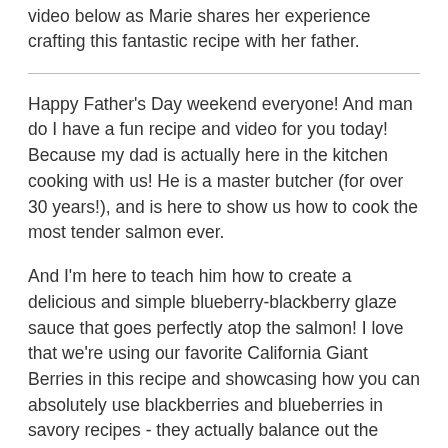video below as Marie shares her experience crafting this fantastic recipe with her father.
Happy Father's Day weekend everyone! And man do I have a fun recipe and video for you today! Because my dad is actually here in the kitchen cooking with us! He is a master butcher (for over 30 years!), and is here to show us how to cook the most tender salmon ever.
And I'm here to teach him how to create a delicious and simple blueberry-blackberry glaze sauce that goes perfectly atop the salmon! I love that we're using our favorite California Giant Berries in this recipe and showcasing how you can absolutely use blackberries and blueberries in savory recipes - they actually balance out the savory element by providing a touch of sweetness, and in this case, also a touch of tang.
Click the image to check out the YouTube video or watch